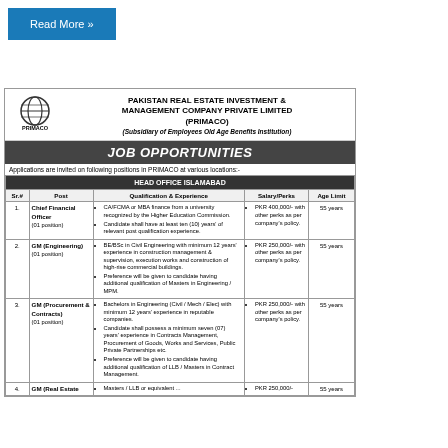Read More »
PAKISTAN REAL ESTATE INVESTMENT & MANAGEMENT COMPANY PRIVATE LIMITED (PRIMACO)
(Subsidiary of Employees Old Age Benefits Institution)
JOB OPPORTUNITIES
Applications are invited on following positions in PRIMACO at various locations:-
| Sr.# | Post | Qualification & Experience | Salary/Perks | Age Limit |
| --- | --- | --- | --- | --- |
| HEAD OFFICE ISLAMABAD |  |  |  |  |
| 1. | Chief Financial Officer (01 position) | CA/FCMA or MBA finance from a university recognized by the Higher Education Commission.
Candidate shall have at least ten (10) years' of relevant post qualification experience. | PKR 400,000/- with other perks as per company's policy. | 55 years |
| 2. | GM (Engineering) (01 position) | BE/BSc in Civil Engineering with minimum 12 years' experience in construction management & supervision, execution works and construction of high-rise commercial buildings.
Preference will be given to candidate having additional qualification of Masters in Engineering / MPM. | PKR 250,000/- with other perks as per company's policy. | 55 years |
| 3. | GM (Procurement & Contracts) (01 position) | Bachelors in Engineering (Civil / Mech / Elec) with minimum 12 years' experience in reputable companies.
Candidate shall possess a minimum seven (07) years' experience in Contracts Management, Procurement of Goods, Works and Services, Public Private Partnerships etc.
Preference will be given to candidate having additional qualification of LLB / Masters in Contract Management. | PKR 250,000/- with other perks as per company's policy. | 55 years |
| 4. | GM (Real Estate ... | Masters / LLB or equivalent ... | PKR 250,000/- | 55 years |